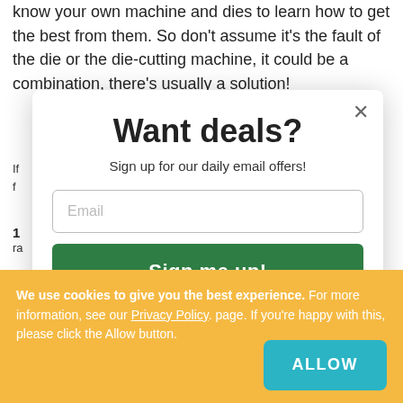know your own machine and dies to learn how to get the best from them. So don't assume it's the fault of the die or the die-cutting machine, it could be a combination, there's usually a solution!
If f
1 r
2 s
Want deals?
Sign up for our daily email offers!
Email
Sign me up!
We use cookies to give you the best experience. For more information, see our Privacy Policy. page. If you're happy with this, please click the Allow button.
ALLOW